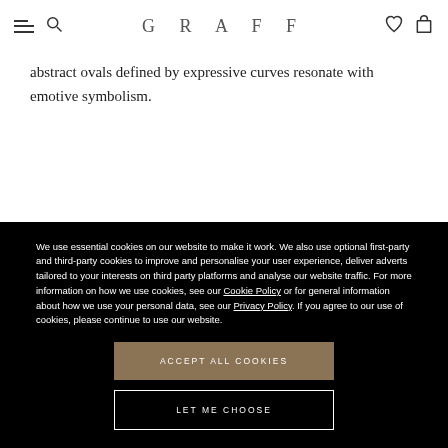GRAFF
abstract ovals defined by expressive curves resonate with emotive symbolism.
We use essential cookies on our website to make it work. We also use optional first-party and third-party cookies to improve and personalise your user experience, deliver adverts tailored to your interests on third party platforms and analyse our website traffic. For more information on how we use cookies, see our Cookie Policy or for general information about how we use your personal data, see our Privacy Policy. If you agree to our use of cookies, please continue to use our website.
ACCEPT ALL COOKIES
LET ME CHOOSE